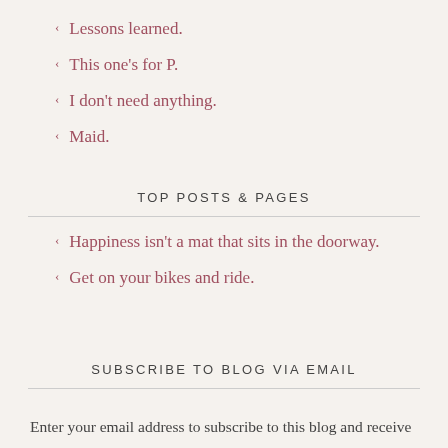Lessons learned.
This one's for P.
I don't need anything.
Maid.
TOP POSTS & PAGES
Happiness isn't a mat that sits in the doorway.
Get on your bikes and ride.
SUBSCRIBE TO BLOG VIA EMAIL
Enter your email address to subscribe to this blog and receive